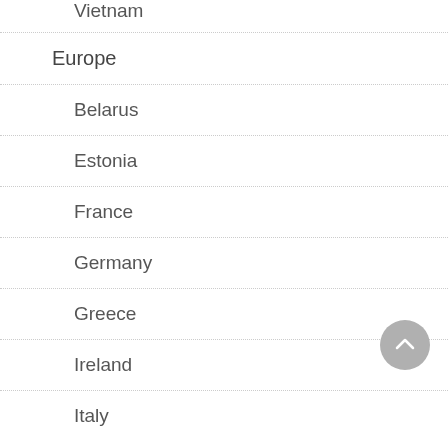Vietnam
Europe
Belarus
Estonia
France
Germany
Greece
Ireland
Italy